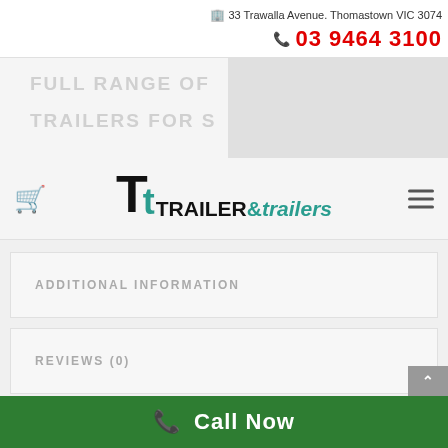33 Trawalla Avenue. Thomastown VIC 3074
03 9464 3100
[Figure (screenshot): Banner with faded text 'FULL RANGE OF... TRAILERS FOR S...' on grey background]
[Figure (logo): TRAILER&trailers company logo with stylized T letters in black and teal]
ADDITIONAL INFORMATION
REVIEWS (0)
PREV
NEXT
Call Now